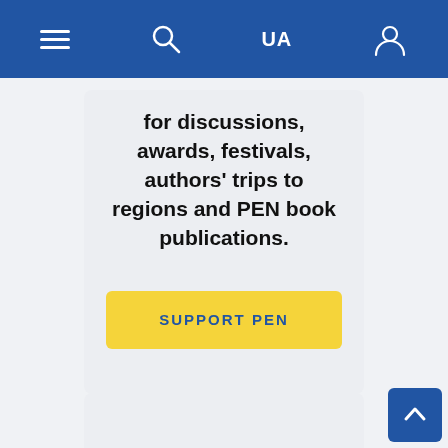Navigation bar with menu, search, UA language selector, and user account icon
for discussions, awards, festivals, authors' trips to regions and PEN book publications.
SUPPORT PEN